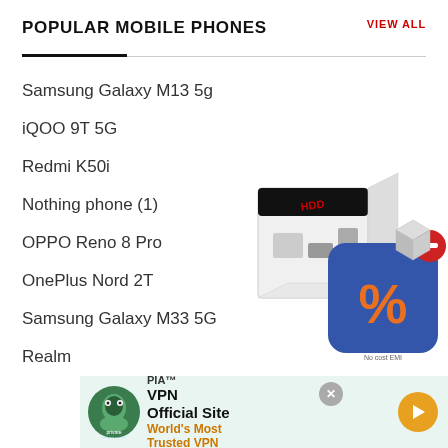POPULAR MOBILE PHONES
VIEW ALL
Samsung Galaxy M13 5g
iQOO 9T 5G
Redmi K50i
Nothing phone (1)
OPPO Reno 8 Pro
OnePlus Nord 2T
Samsung Galaxy M33 5G
Realm
[Figure (screenshot): App icon showing a discount/coupon app with a percentage symbol on a blue background, with a product box behind it, and a red minus button overlay]
[Figure (screenshot): PIA VPN advertisement banner: 'PIA™ VPN Official Site — World's Most Trusted VPN' with green mascot logo and orange arrow button]